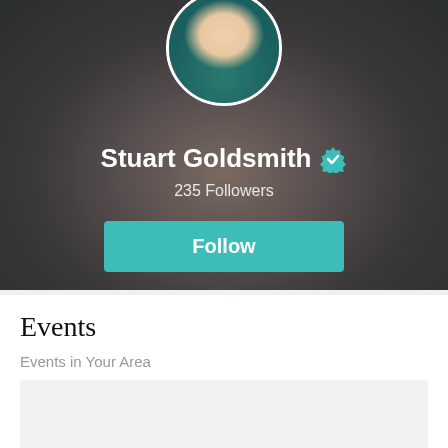[Figure (photo): Profile banner with blurred background photo of a smiling man in a teal shirt, with circular avatar photo of the same man centered at the top]
Stuart Goldsmith
235 Followers
Follow
Events
Events in Your Area
[Figure (screenshot): Empty gray card placeholder for event listing]